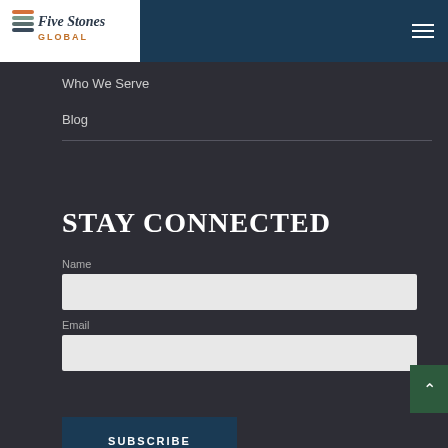[Figure (logo): Five Stones Global logo with stacked colored lines and cursive/sans text]
Who We Serve
Blog
STAY CONNECTED
Name
Email
SUBSCRIBE
[Figure (infographic): Social media icons: Facebook, Twitter, Share/Plus button]